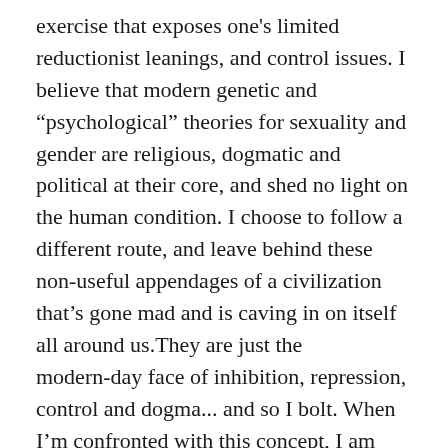exercise that exposes one's limited reductionist leanings, and control issues. I believe that modern genetic and “psychological” theories for sexuality and gender are religious, dogmatic and political at their core, and shed no light on the human condition. I choose to follow a different route, and leave behind these non-useful appendages of a civilization that’s gone mad and is caving in on itself all around us.They are just the modern-day face of inhibition, repression, control and dogma... and so I bolt. When I’m confronted with this concept, I am comfortable with ‘not knowing.’ Out of the ‘trap’, I mostly find myself thinking and feeling beyond gender. As such, thinking about it today, dabbling in gender issues is the wrong way for me to go in my life. Life truly is a beautiful rainbow panoply of diverse, colourful phenomenon... there for the taking/experiencing. My intellectual approaches to it